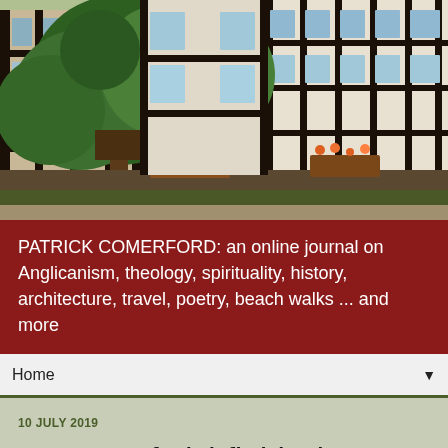[Figure (photo): Photograph of a row of timber-framed Tudor-style black and white buildings with lush green trees and flowering plants in front, taken in summer]
PATRICK COMERFORD: an online journal on Anglicanism, theology, spirituality, history, architecture, travel, poetry, beach walks ... and more
Home
10 JULY 2019
A Dean of Lichfield who played a key role in Cambridge and who